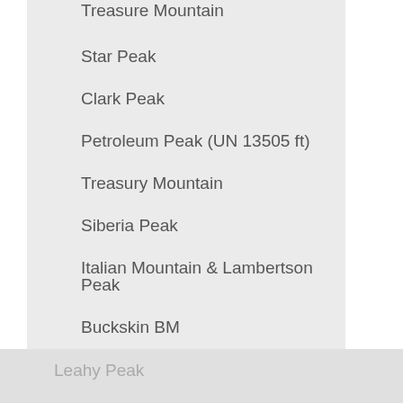Treasure Mountain
Star Peak
Clark Peak
Petroleum Peak (UN 13505 ft)
Treasury Mountain
Siberia Peak
Italian Mountain & Lambertson Peak
Buckskin BM
Pearl Mountain
Malemute Peak
UN13,336 "Willow Peak"
Belleview Mountain
Leahy Peak
"West Pearl Mountain"